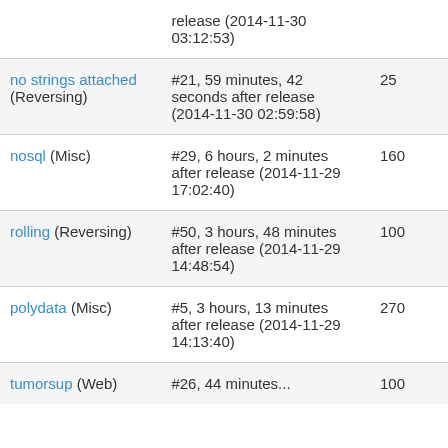| Name | Detail | Score |
| --- | --- | --- |
|  | release (2014-11-30 03:12:53) |  |
| no strings attached (Reversing) | #21, 59 minutes, 42 seconds after release (2014-11-30 02:59:58) | 25 |
| nosql (Misc) | #29, 6 hours, 2 minutes after release (2014-11-29 17:02:40) | 160 |
| rolling (Reversing) | #50, 3 hours, 48 minutes after release (2014-11-29 14:48:54) | 100 |
| polydata (Misc) | #5, 3 hours, 13 minutes after release (2014-11-29 14:13:40) | 270 |
| tumorsup (Web) | #26, 44 minutes... | 100 |